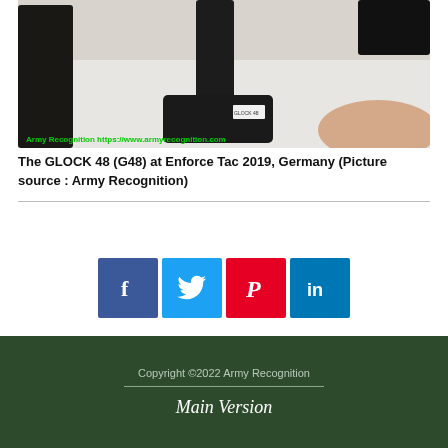[Figure (photo): Photo of GLOCK 48 (G48) pistol on display stand at Enforce Tac 2019 trade show, with watermark reading 'Army Recognition https://www.armyrecognition.com']
The GLOCK 48 (G48) at Enforce Tac 2019, Germany (Picture source : Army Recognition)
[Figure (infographic): Social media share buttons: Facebook (blue), Twitter (light blue), Pinterest (red), LinkedIn (dark blue)]
Copyright ©2022 Army Recognition
Main Version